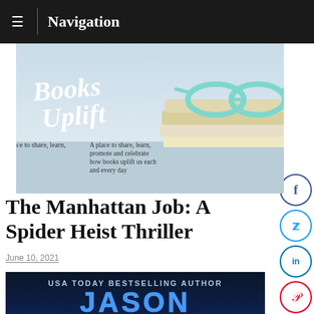Navigation
[Figure (illustration): Books Uplift banner image showing teal/mint reading glasses resting on a stack of books with script text 'Books Uplift' and subtitle 'A place to share, learn, promote and celebrate how books uplift us each and every day']
The Manhattan Job: A Spider Heist Thriller
June 10, 2021
[Figure (illustration): Book cover showing 'USA TODAY BESTSELLING AUTHOR JASON' in blue glowing text on dark background]